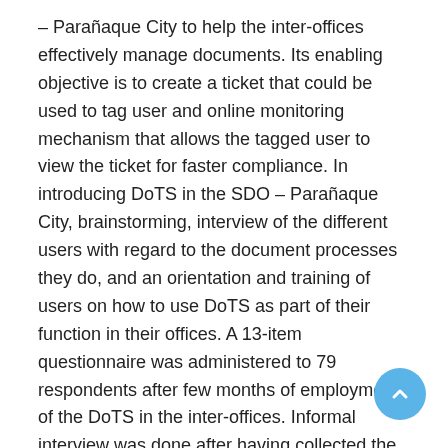– Parañaque City to help the inter-offices effectively manage documents. Its enabling objective is to create a ticket that could be used to tag user and online monitoring mechanism that allows the tagged user to view the ticket for faster compliance. In introducing DoTS in the SDO – Parañaque City, brainstorming, interview of the different users with regard to the document processes they do, and an orientation and training of users on how to use DoTS as part of their function in their offices. A 13-item questionnaire was administered to 79 respondents after few months of employment of the DoTS in the inter-offices. Informal interview was done after having collected the questionnaires to employ probing technique to deepen the responses of the users. Findings revealed that negative reactions for some users were evident during the orientation and training stage of DoTS; on the other hand, after having experienced using DoTS, positive effects on their performances were manifested. Furthermore, some findings suggest that the employment of DoTS in the inter-offices in the SDO – Parañaque City has improved the document